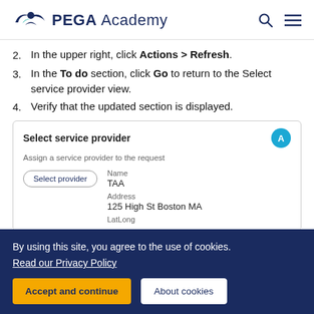PEGA Academy
In the upper right, click Actions > Refresh.
In the To do section, click Go to return to the Select service provider view.
Verify that the updated section is displayed.
[Figure (screenshot): Screenshot of the Select service provider UI panel showing a blue avatar button labeled A, subtitle 'Assign a service provider to the request', fields for Name (TAA), Address (125 High St Boston MA), LatLong, and a 'Select provider' button.]
By using this site, you agree to the use of cookies.
Read our Privacy Policy
Accept and continue   About cookies